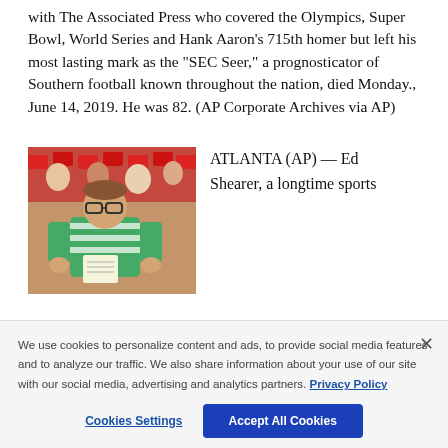with The Associated Press who covered the Olympics, Super Bowl, World Series and Hank Aaron's 715th homer but left his most lasting mark as the "SEC Seer," a prognosticator of Southern football known throughout the nation, died Monday., June 14, 2019. He was 82. (AP Corporate Archives via AP)
[Figure (photo): A man wearing glasses and a green and white striped polo shirt at what appears to be a sporting event, writing or taking notes. Red stadium seats visible in background.]
ATLANTA (AP) — Ed Shearer, a longtime sports
We use cookies to personalize content and ads, to provide social media features and to analyze our traffic. We also share information about your use of our site with our social media, advertising and analytics partners. Privacy Policy
Cookies Settings
Accept All Cookies